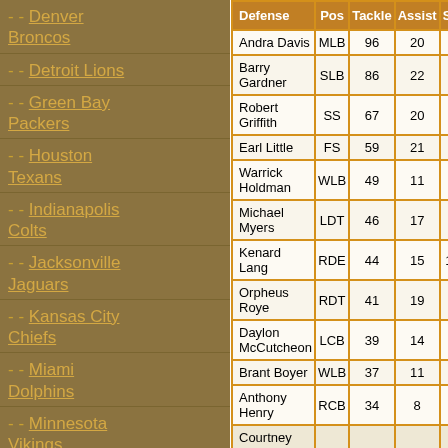- - Denver Broncos
- - Detroit Lions
- - Green Bay Packers
- - Houston Texans
- - Indianapolis Colts
- - Jacksonville Jaguars
- - Kansas City Chiefs
- - Miami Dolphins
- - Minnesota Vikings
| Defense | Pos | Tackle | Assist | Sack | Hurr | Int |
| --- | --- | --- | --- | --- | --- | --- |
| Andra Davis | MLB | 96 | 20 | 2.0 | 1 | 0 |
| Barry Gardner | SLB | 86 | 22 | 3.0 | 2 | 0 |
| Robert Griffith | SS | 67 | 20 | 1.0 | 1 | 3 |
| Earl Little | FS | 59 | 21 | 0.0 | 0 | 3 |
| Warrick Holdman | WLB | 49 | 11 | 2.5 | 2 | 0 |
| Michael Myers | LDT | 46 | 17 | 6.0 | 15 | 0 |
| Kenard Lang | RDE | 44 | 15 | 14.0 | 32 | 0 |
| Orpheus Roye | RDT | 41 | 19 | 3.5 | 12 | 0 |
| Daylon McCutcheon | LCB | 39 | 14 | 1.0 | 0 | 2 |
| Brant Boyer | WLB | 37 | 11 | 0.0 | 2 | 1 |
| Anthony Henry | RCB | 34 | 8 | 0.0 | 1 | 0 |
| Courtney |  |  |  |  |  |  |